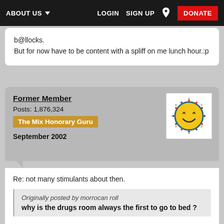ABOUT US  LOGIN  SIGN UP  DONATE
b@llocks.
But for now have to be content with a spliff on me lunch hour.:p
Former Member
Posts: 1,876,324
The Mix Honorary Guru
September 2002
Re: not many stimulants about then.

Originally posted by morrocan roll
why is the drugs room always the first to go to bed ?

we need our sleep after staying up all weekend !